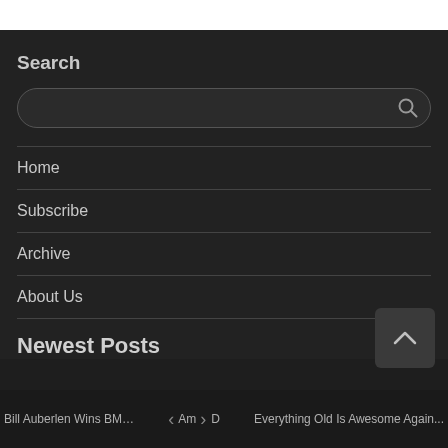Search
[search input field]
Home
Subscribe
Archive
About Us
Newest Posts
Bill Auberlen Wins BMW Race Of L...  < Am > Dangering...  Everything Old Is Awesome Again...